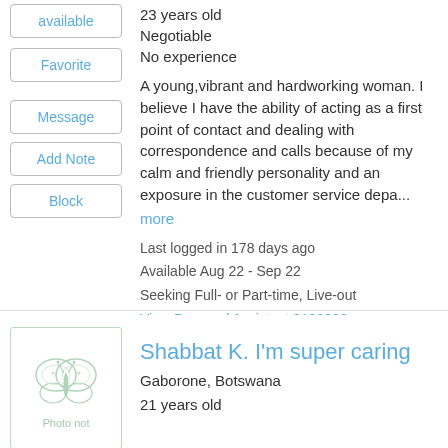available
Favorite
Message
Add Note
Block
23 years old
Negotiable
No experience
A young,vibrant and hardworking woman. I believe I have the ability of acting as a first point of contact and dealing with correspondence and calls because of my calm and friendly personality and an exposure in the customer service depa...
more
Last logged in 178 days ago
Available Aug 22 - Sep 22
Seeking Full- or Part-time, Live-out
View Personal Assistant 3120293
Shabbat K. I'm super caring
Gaborone, Botswana
21 years old